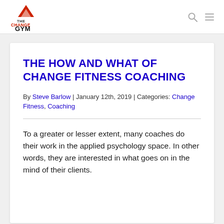The Change Gym
THE HOW AND WHAT OF CHANGE FITNESS COACHING
By Steve Barlow | January 12th, 2019 | Categories: Change Fitness, Coaching
To a greater or lesser extent, many coaches do their work in the applied psychology space. In other words, they are interested in what goes on in the mind of their clients.